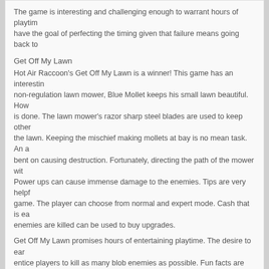The game is interesting and challenging enough to warrant hours of playtime. Players have the goal of perfecting the timing given that failure means going back to the beginning.
Get Off My Lawn
Hot Air Raccoon's Get Off My Lawn is a winner! This game has an interesting premise. Using a non-regulation lawn mower, Blue Mollet keeps his small lawn beautiful. However, the job is done. The lawn mower's razor sharp steel blades are used to keep other critters off the lawn. Keeping the mischief making mollets at bay is no mean task. An army of mollets bent on causing destruction. Fortunately, directing the path of the mower with skill. Power ups can cause immense damage to the enemies. Tips are very helpful in the game. The player can choose from normal and expert mode. Cash that is earned when enemies are killed can be used to buy upgrades.
Get Off My Lawn promises hours of entertaining playtime. The desire to earn upgrades entice players to kill as many blob enemies as possible. Fun facts are outstanding in the game.
Permalink
Ease Your Mind Out With Online Puzzle G
Game Players
Comments Off on Ease Your Mind Out With Online Puz
[Figure (screenshot): Dark blue game screenshot with INFINITY text and logo]